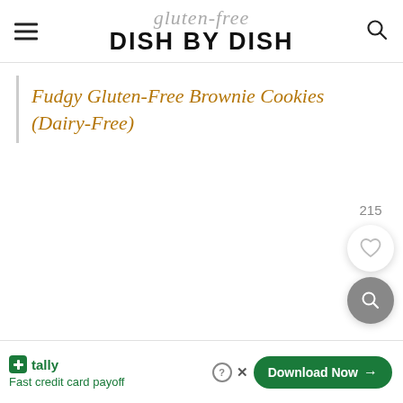gluten-free DISH BY DISH
Fudgy Gluten-Free Brownie Cookies (Dairy-Free)
215
[Figure (other): Heart (favorite) button and search button floating action buttons on the right side of the page]
Tally – Fast credit card payoff – Download Now →